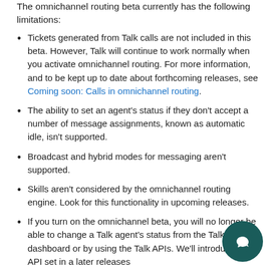The omnichannel routing beta currently has the following limitations:
Tickets generated from Talk calls are not included in this beta. However, Talk will continue to work normally when you activate omnichannel routing. For more information, and to be kept up to date about forthcoming releases, see Coming soon: Calls in omnichannel routing.
The ability to set an agent's status if they don't accept a number of message assignments, known as automatic idle, isn't supported.
Broadcast and hybrid modes for messaging aren't supported.
Skills aren't considered by the omnichannel routing engine. Look for this functionality in upcoming releases.
If you turn on the omnichannel beta, you will no longer be able to change a Talk agent's status from the Talk dashboard or by using the Talk APIs. We'll introduce a new API set in a later releases
If call forwarding is enabled and the status of an agent is...